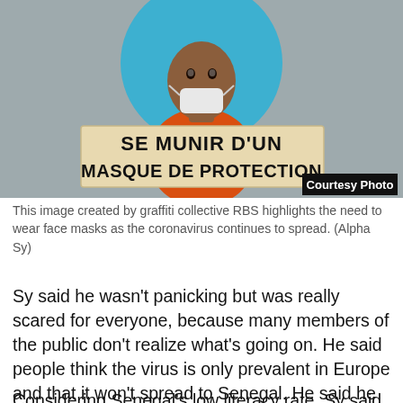[Figure (illustration): Graffiti-style illustration of a person wearing a white face mask, with a blue circular background and orange clothing, holding a sign that reads 'SE MUNIR D'UN MASQUE DE PROTECTION'. A black badge in the bottom right reads 'Courtesy Photo'.]
This image created by graffiti collective RBS highlights the need to wear face masks as the coronavirus continues to spread. (Alpha Sy)
Sy said he wasn't panicking but was really scared for everyone, because many members of the public don't realize what's going on. He said people think the virus is only prevalent in Europe and that it won't spread to Senegal. He said he didn't think hospitals could handle a caseload of, say, 10,000 people.
Considering Senegal's low literacy rate, Sy said, art is